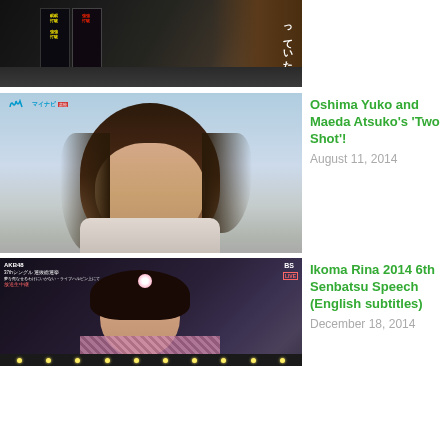[Figure (photo): Partial view of a dark scene with Japanese vending machines or advertisement display showing drink products with Japanese text]
[Figure (photo): Portrait of a young Japanese woman with shoulder-length dark hair against a light blue sky background, with a small Mynavi logo in the top-left corner]
Oshima Yuko and Maeda Atsuko's 'Two Shot'!
August 11, 2014
[Figure (photo): TV broadcast screenshot from AKB48 37th Single Senbatsu Sousenkyo live event, showing a young Japanese woman with flower hair accessory, with AKB48 text overlay and BS/LIVE tags]
Ikoma Rina 2014 6th Senbatsu Speech (English subtitles)
December 18, 2014